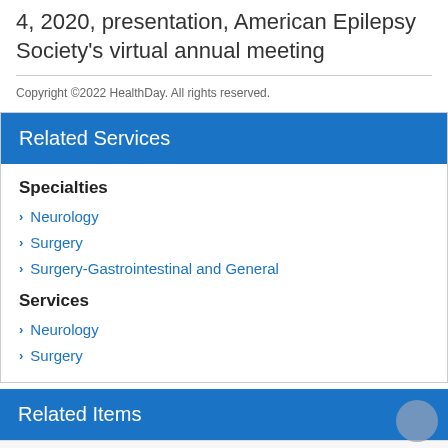4, 2020, presentation, American Epilepsy Society's virtual annual meeting
Copyright ©2022 HealthDay. All rights reserved.
Related Services
Specialties
Neurology
Surgery
Surgery-Gastrointestinal and General
Services
Neurology
Surgery
Related Items